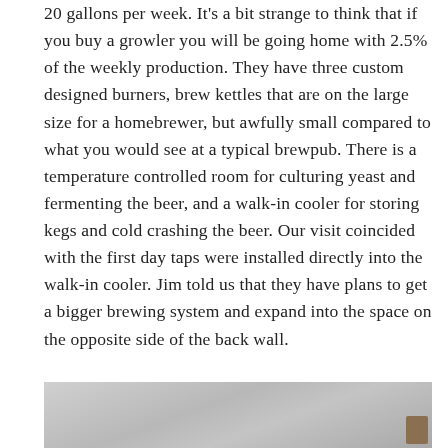20 gallons per week.  It's a bit strange to think that if you buy a growler you will be going home with 2.5% of the weekly production.  They have three custom designed burners, brew kettles that are on the large size for a homebrewer, but awfully small compared to what you would see at a typical brewpub.  There is a temperature controlled room for culturing yeast and fermenting the beer, and a walk-in cooler for storing kegs and cold crashing the beer.  Our visit coincided with the first day taps were installed directly into the walk-in cooler.  Jim told us that they have plans to get a bigger brewing system and expand into the space on the opposite side of the back wall.
[Figure (photo): Partial photo showing interior of a brewery or building, light gray walls and ceiling visible, small brown rectangular object visible in bottom right corner.]